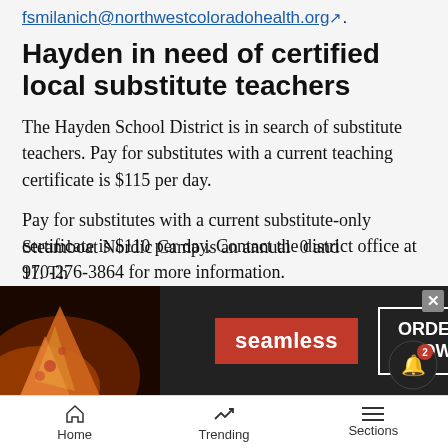fsmilanich@northwestcoloradohealth.org.
Hayden in need of certified local substitute teachers
The Hayden School District is in search of substitute teachers. Pay for substitutes with a current teaching certificate is $115 per day.
Pay for substitutes with a current substitute-only certificate is $110 per day. Contact the district office at 970-276-3864 for more information.
Registration now open for Steamboat Nordic Camp
Steamboat Nordic Camp is an annual... ages 10 and 11. The...
[Figure (other): Seamless food delivery advertisement with pizza image, red Seamless logo, and ORDER NOW button]
Home   Trending   Sections